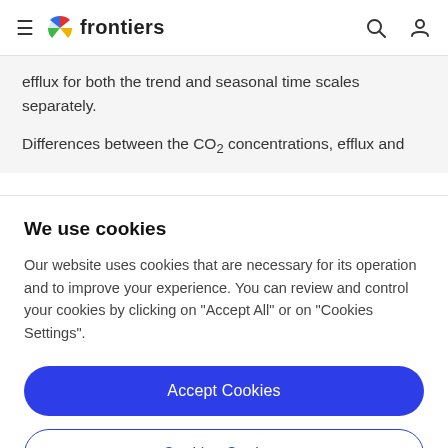frontiers
efflux for both the trend and seasonal time scales separately.
Differences between the CO₂ concentrations, efflux and
We use cookies
Our website uses cookies that are necessary for its operation and to improve your experience. You can review and control your cookies by clicking on "Accept All" or on "Cookies Settings".
Accept Cookies
Cookies Settings